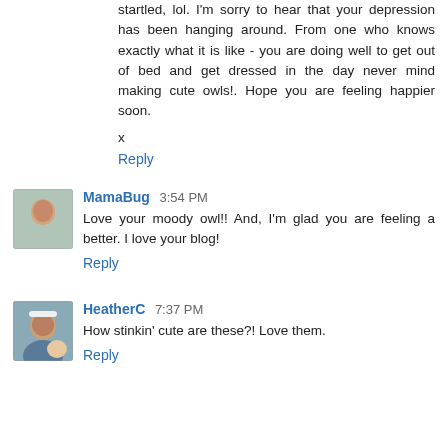startled, lol. I'm sorry to hear that your depression has been hanging around. From one who knows exactly what it is like - you are doing well to get out of bed and get dressed in the day never mind making cute owls!. Hope you are feeling happier soon.
x
Reply
MamaBug 3:54 PM
Love your moody owl!! And, I'm glad you are feeling a better. I love your blog!
Reply
HeatherC 7:37 PM
How stinkin' cute are these?! Love them.
Reply